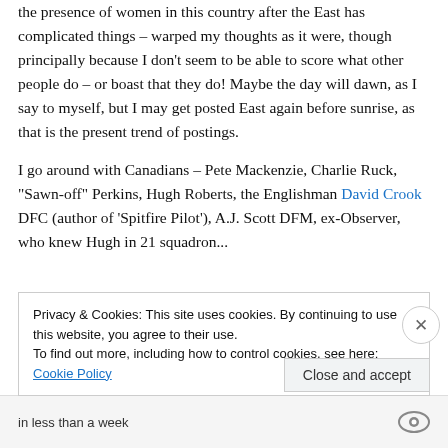the presence of women in this country after the East has complicated things – warped my thoughts as it were, though principally because I don't seem to be able to score what other people do – or boast that they do! Maybe the day will dawn, as I say to myself, but I may get posted East again before sunrise, as that is the present trend of postings.
I go around with Canadians – Pete Mackenzie, Charlie Ruck, "Sawn-off" Perkins, Hugh Roberts, the Englishman David Crook DFC (author of 'Spitfire Pilot'), A.J. Scott DFM, ex-Observer, who knew Hugh in 21 squadron...
Privacy & Cookies: This site uses cookies. By continuing to use this website, you agree to their use.
To find out more, including how to control cookies, see here: Cookie Policy
in less than a week